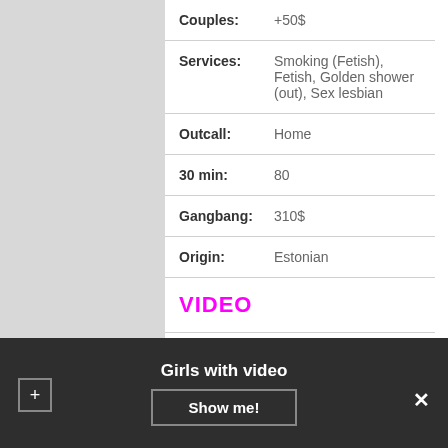| Field | Value |
| --- | --- |
| Couples: | +50$ |
| Services: | Smoking (Fetish), Fetish, Golden shower (out), Sex lesbian |
| Outcall: | Home |
| 30 min: | 80 |
| Gangbang: | 310$ |
| Origin: | Estonian |
VIDEO
Touring: Hong Kong 27th Jul - 1st of August 2017 Singapore 2nd - 6th of August 2017
Girls with video
Show me!